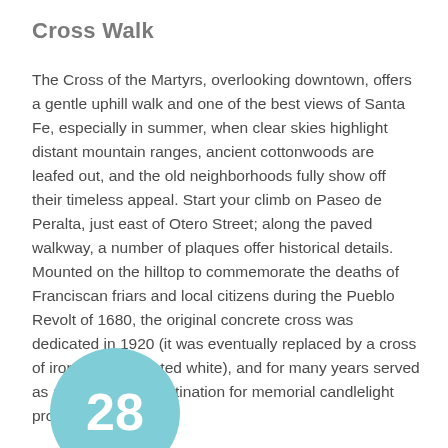Cross Walk
The Cross of the Martyrs, overlooking downtown, offers a gentle uphill walk and one of the best views of Santa Fe, especially in summer, when clear skies highlight distant mountain ranges, ancient cottonwoods are leafed out, and the old neighborhoods fully show off their timeless appeal. Start your climb on Paseo de Peralta, just east of Otero Street; along the paved walkway, a number of plaques offer historical details. Mounted on the hilltop to commemorate the deaths of Franciscan friars and local citizens during the Pueblo Revolt of 1680, the original concrete cross was dedicated in 1920 (it was eventually replaced by a cross of iron girders painted white), and for many years served as a served as a destination for memorial candlelight processions.
[Figure (other): A teal/light-blue circle badge with the number 28 in white, partially visible at the bottom of the page.]